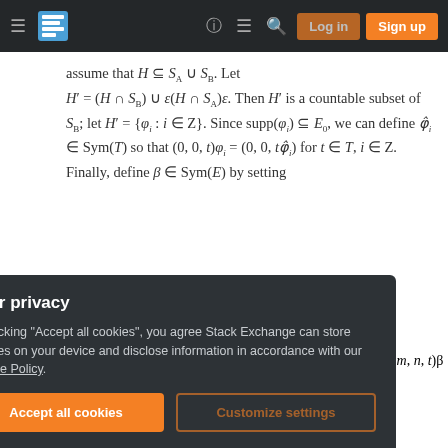Stack Exchange navigation bar with Log in and Sign up buttons
assume that H ⊆ S_A ∪ S_B. Let H' = (H ∩ S_B) ∪ ε(H ∩ S_A)ε. Then H' is a countable subset of S_B; let H' = {φ_i : i ∈ Z}. Since supp(φ_i) ⊆ E_0, we can define φ̂_i ∈ Sym(T) so that (0, 0, t)φ_i = (0, 0, tφ̂_i) for t ∈ T, i ∈ Z. Finally, define β ∈ Sym(E) by setting
subgroups.